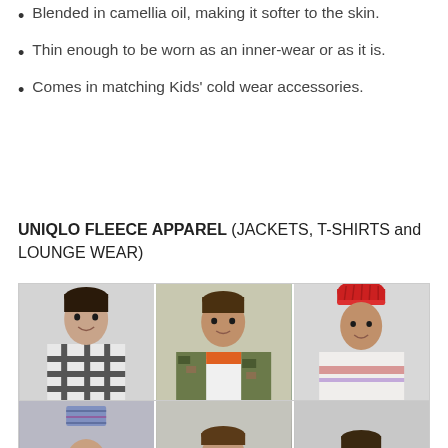Blended in camellia oil, making it softer to the skin.
Thin enough to be worn as an inner-wear or as it is.
Comes in matching Kids' cold wear accessories.
UNIQLO FLEECE APPAREL (JACKETS, T-SHIRTS and LOUNGE WEAR)
[Figure (photo): Three children modeling Uniqlo fleece apparel. Left: boy in black and white plaid fleece jacket. Center: boy in camouflage fleece hoodie with orange lining. Right: boy in red beanie and white patterned zip-up fleece.]
[Figure (photo): Partial photo of three more children modeling Uniqlo fleece apparel, showing only heads/upper bodies at bottom of page.]